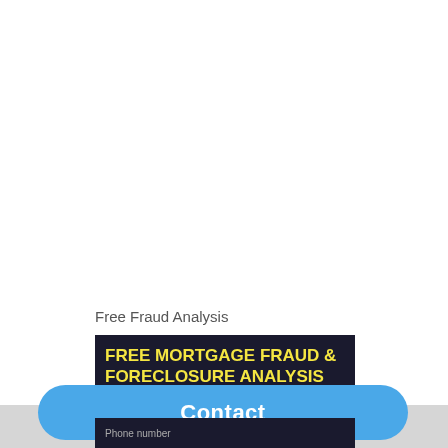Free Fraud Analysis
[Figure (screenshot): Dark banner with yellow bold uppercase text reading 'FREE MORTGAGE FRAUD & FORECLOSURE ANALYSIS']
Contact